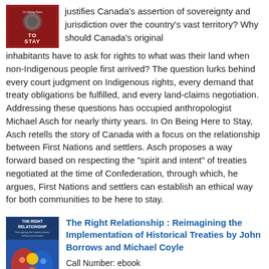[Figure (photo): Book cover of 'On Being Here to Stay' with red background and text]
justifies Canada's assertion of sovereignty and jurisdiction over the country's vast territory? Why should Canada's original inhabitants have to ask for rights to what was their land when non-Indigenous people first arrived? The question lurks behind every court judgment on Indigenous rights, every demand that treaty obligations be fulfilled, and every land-claims negotiation. Addressing these questions has occupied anthropologist Michael Asch for nearly thirty years. In On Being Here to Stay, Asch retells the story of Canada with a focus on the relationship between First Nations and settlers. Asch proposes a way forward based on respecting the "spirit and intent" of treaties negotiated at the time of Confederation, through which, he argues, First Nations and settlers can establish an ethical way for both communities to be here to stay.
[Figure (photo): Book cover of 'The Right Relationship' with colorful Indigenous art on blue background]
The Right Relationship : Reimagining the Implementation of Historical Treaties by John Borrows and Michael Coyle
Call Number: ebook
Publication Date: 2017